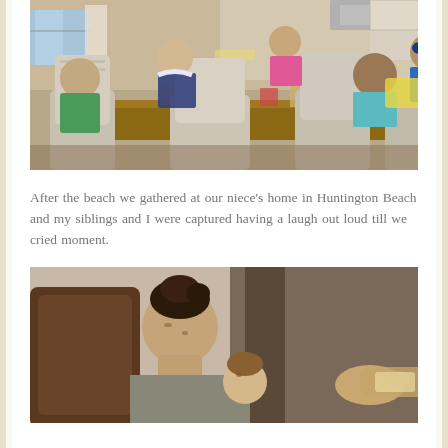[Figure (photo): Family gathered around a dining table in a home kitchen, several people laughing and eating together. People sitting in upholstered chairs around a wooden table with food and drinks.]
After the beach we gathered at our niece's home in Huntington Beach and my siblings and I were captured having a laugh out loud till we cried moment.
[Figure (photo): A young woman with dark hair in a bun looking down at a small toddler, in what appears to be a home interior.]